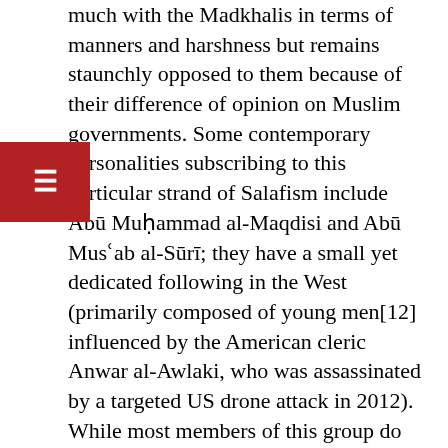much with the Madkhalis in terms of manners and harshness but remains staunchly opposed to them because of their difference of opinion on Muslim governments. Some contemporary personalities subscribing to this particular strand of Salafism include Abū Muḥammad al-Maqdisi and Abū Musʿab al-Sūrī; they have a small yet dedicated following in the West (primarily composed of young men[12] influenced by the American cleric Anwar al-Awlaki, who was assassinated by a targeted US drone attack in 2012). While most members of this group do not actively engage in Jihād themselves, their writings lay the foundations for the position of the next group.
7. Radical jihadist Salafīs: Encompassing radical